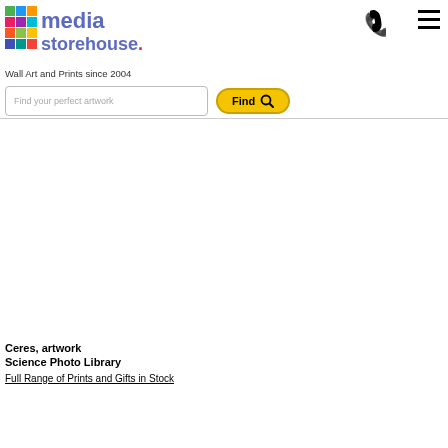media storehouse. Wall Art and Prints since 2004
[Figure (screenshot): Search bar with 'Find your perfect artwork' placeholder and yellow Find button with magnifying glass icon]
[Figure (photo): Large mostly white/blank image area — Ceres artwork from Science Photo Library]
Ceres, artwork
Science Photo Library
Full Range of Prints and Gifts in Stock